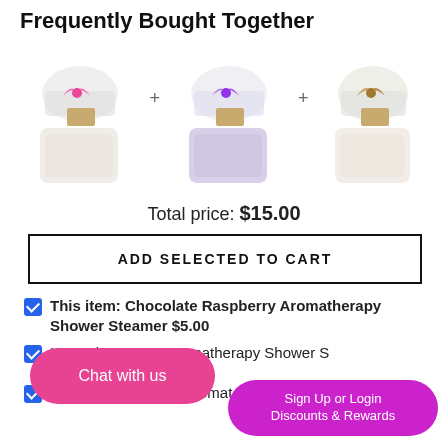Frequently Bought Together
[Figure (photo): Three aromatherapy shower steamers in clear packaging with ribbon ties, arranged in a row with plus signs between them.]
Total price: $15.00
ADD SELECTED TO CART
This item: Chocolate Raspberry Aromatherapy Shower Steamer $5.00
Lavender Lemon Aromatherapy Shower S[teamer]
Vanilla Sandalwood Aromat[herapy Shower Steamer]